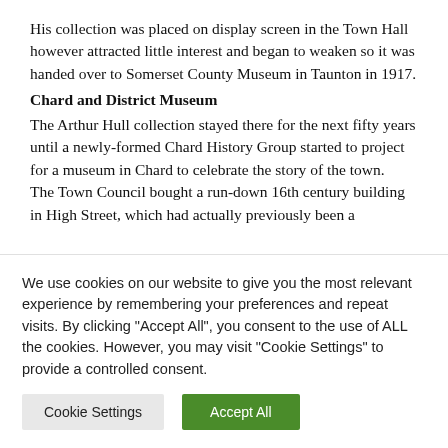His collection was placed on display screen in the Town Hall however attracted little interest and began to weaken so it was handed over to Somerset County Museum in Taunton in 1917.
Chard and District Museum
The Arthur Hull collection stayed there for the next fifty years until a newly-formed Chard History Group started to project for a museum in Chard to celebrate the story of the town.
The Town Council bought a run-down 16th century building in High Street, which had actually previously been a
We use cookies on our website to give you the most relevant experience by remembering your preferences and repeat visits. By clicking "Accept All", you consent to the use of ALL the cookies. However, you may visit "Cookie Settings" to provide a controlled consent.
Cookie Settings | Accept All